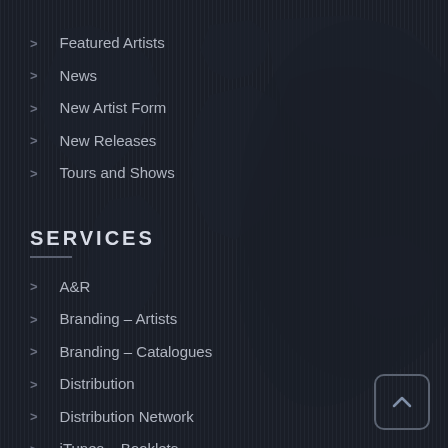[Figure (illustration): Dark world map silhouette background with vertical stripe texture overlay on dark navy background]
> Featured Artists
> News
> New Artist Form
> New Releases
> Tours and Shows
SERVICES
> A&R
> Branding – Artists
> Branding – Catalogues
> Distribution
> Distribution Network
> iTunes – Booklets
> Jingles